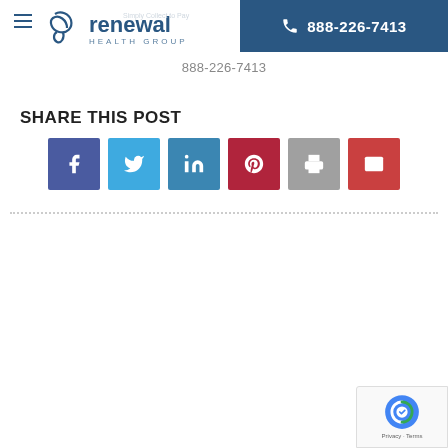[Figure (logo): Renewal Health Group logo with phone number banner]
888-226-7413
SHARE THIS POST
[Figure (infographic): Social share buttons: Facebook, Twitter, LinkedIn, Pinterest, Print, Email]
[Figure (other): reCAPTCHA privacy badge]